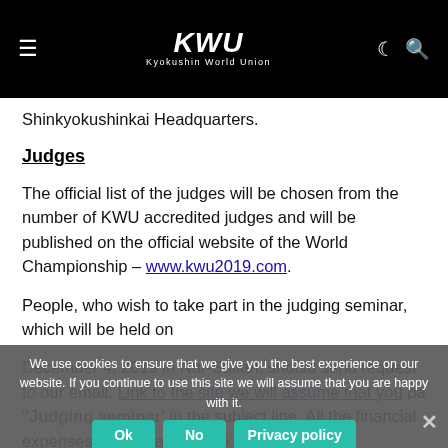KWU Kyokushin World Union
Shinkyokushinkai Headquarters.
Judges
The official list of the judges will be chosen from the number of KWU accredited judges and will be published on the official website of the World Championship – www.kwu2019.com.
People, who wish to take part in the judging seminar, which will be held on
December 4, 2019 in Nur-Sultan, should send request to our email. Link to the site we will assume that you 'Judging seminar' in the subject line. All the financial expenses they please are happy.
We use cookies to ensure that we give you the best experience on our website. If you continue to use this site we will assume that you are happy with it.